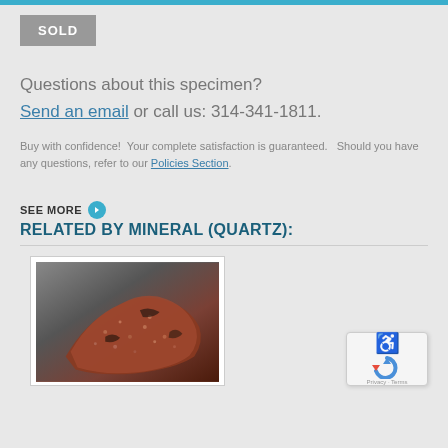SOLD
Questions about this specimen?
Send an email or call us: 314-341-1811.
Buy with confidence!  Your complete satisfaction is guaranteed.   Should you have any questions, refer to our Policies Section.
SEE MORE ❯ RELATED BY MINERAL (QUARTZ):
[Figure (photo): Photograph of a mineral specimen (quartz-related), showing a dark reddish-brown crystalline rock with metallic luster on a gray gradient background.]